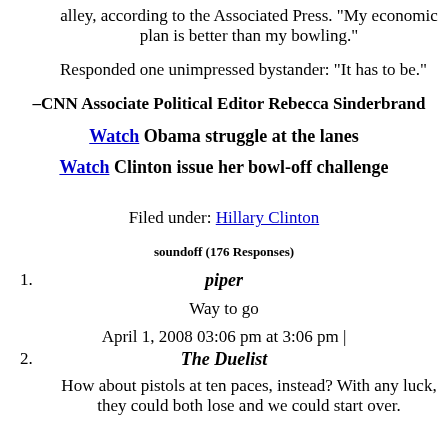alley, according to the Associated Press. "My economic plan is better than my bowling."
Responded one unimpressed bystander: "It has to be."
–CNN Associate Political Editor Rebecca Sinderbrand
Watch Obama struggle at the lanes
Watch Clinton issue her bowl-off challenge
Filed under: Hillary Clinton
soundoff (176 Responses)
1. piper
Way to go
April 1, 2008 03:06 pm at 3:06 pm |
2. The Duelist
How about pistols at ten paces, instead? With any luck, they could both lose and we could start over.